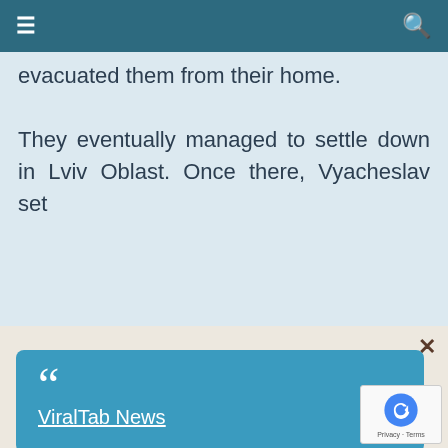≡  🔍
evacuated them from their home.
They eventually managed to settle down in Lviv Oblast. Once there, Vyacheslav set
[Figure (screenshot): Blue popup overlay with close X button, large quotation marks icon, and underlined link text 'ViralTab News' on a teal/blue background box over a beige overlay]
[Figure (photo): Close-up photo of a young blond boy with blue eyes looking slightly downward, with a blurred background]